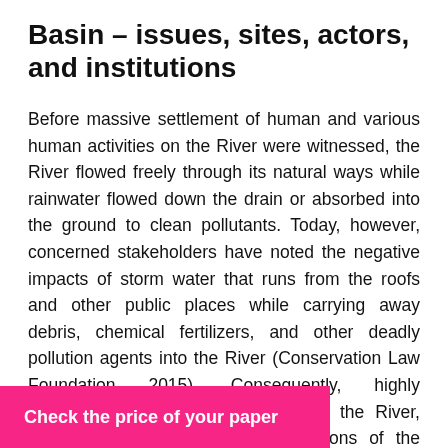Basin – issues, sites, actors, and institutions
Before massive settlement of human and various human activities on the River were witnessed, the River flowed freely through its natural ways while rainwater flowed down the drain or absorbed into the ground to clean pollutants. Today, however, concerned stakeholders have noted the negative impacts of storm water that runs from the roofs and other public places while carrying away debris, chemical fertilizers, and other deadly pollution agents into the River (Conservation Law Foundation 2015). Consequently, highly contaminated dirty water drains into the River, Boston Harbor and into other sections of the River.
It has also been observed that the toxic algae that … horus mainly … ajor threats to
[Figure (other): Pink call-to-action button overlay reading 'Check the price of your paper']